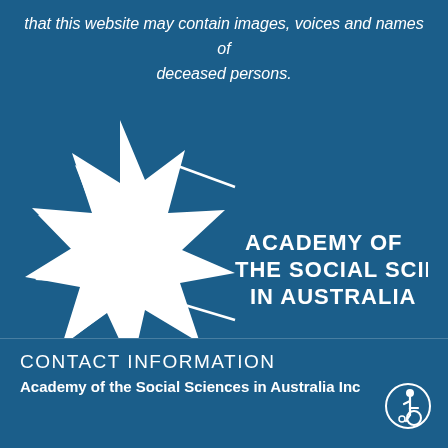that this website may contain images, voices and names of deceased persons.
[Figure (logo): Academy of the Social Sciences in Australia logo — white 8-pointed star outline on blue background with text 'ACADEMY OF THE SOCIAL SCIENCES IN AUSTRALIA']
CONTACT INFORMATION
Academy of the Social Sciences in Australia Inc